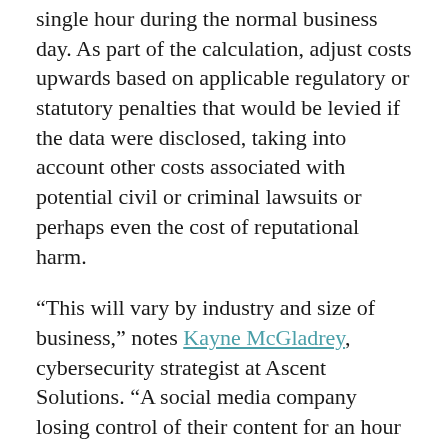single hour during the normal business day. As part of the calculation, adjust costs upwards based on applicable regulatory or statutory penalties that would be levied if the data were disclosed, taking into account other costs associated with potential civil or criminal lawsuits or perhaps even the cost of reputational harm.
“This will vary by industry and size of business,” notes Kayne McGladrey, cybersecurity strategist at Ascent Solutions. “A social media company losing control of their content for an hour has a very different risk profile than a manufacturing company being unable to manufacture products.”
Most data initiatives that fail do so for one of three common reasons: There’s a disconnect in terms of what data is necessary to meet business objectives, the data that’s not stored can’t be applied to the